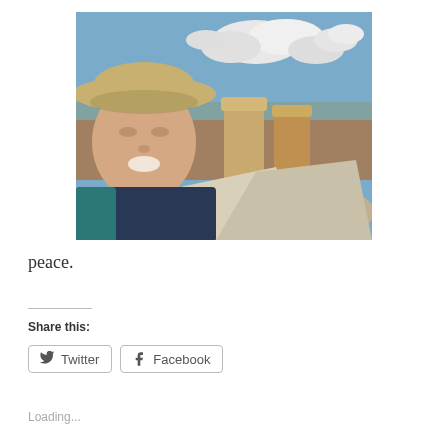[Figure (photo): Selfie of a woman wearing a wide-brimmed hat and a dark blue top with a teal jacket, smiling at the camera. In the background are sandstone rock formations (hoodoos), a vast desert landscape, and a partly cloudy blue sky.]
peace.
Share this:
Loading...